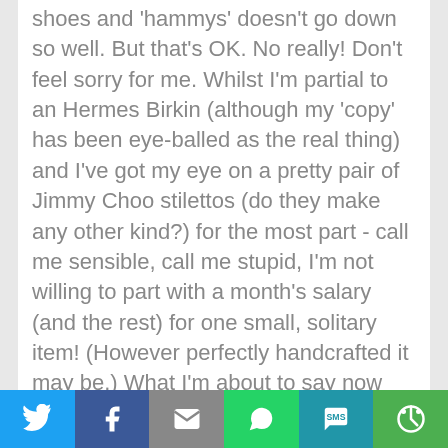shoes and 'hammys' doesn't go down so well. But that's OK. No really! Don't feel sorry for me. Whilst I'm partial to an Hermes Birkin (although my 'copy' has been eye-balled as the real thing) and I've got my eye on a pretty pair of Jimmy Choo stilettos (do they make any other kind?) for the most part - call me sensible, call me stupid, I'm not willing to part with a month's salary (and the rest) for one small, solitary item! (However perfectly handcrafted it may be.) What I'm about to say now might cause many a fashionista to gasp in horror at what could be viewed as a serious fashion crime - but in all honesty - I'd much
[Figure (other): Social sharing bar with icons for Twitter, Facebook, Email, WhatsApp, SMS, and More]